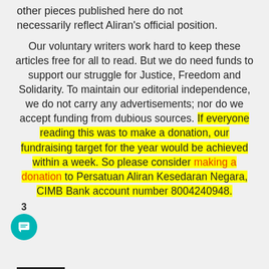other pieces published here do not necessarily reflect Aliran's official position.
Our voluntary writers work hard to keep these articles free for all to read. But we do need funds to support our struggle for Justice, Freedom and Solidarity. To maintain our editorial independence, we do not carry any advertisements; nor do we accept funding from dubious sources. If everyone reading this was to make a donation, our fundraising target for the year would be achieved within a week. So please consider making a donation to Persatuan Aliran Kesedaran Negara, CIMB Bank account number 8004240948.